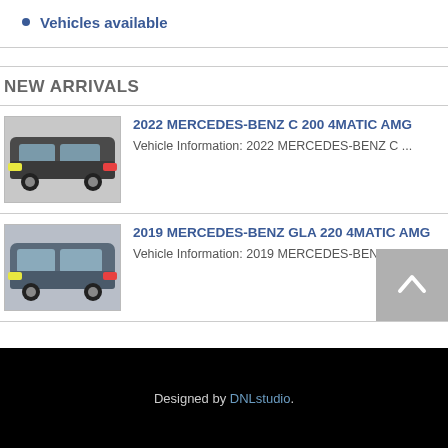Vehicles available
NEW ARRIVALS
[Figure (photo): 2022 Mercedes-Benz C 200 4Matic AMG - dark grey sedan, front three-quarter view]
2022 MERCEDES-BENZ C 200 4MATIC AMG
Vehicle Information: 2022 MERCEDES-BENZ C ...
[Figure (photo): 2019 Mercedes-Benz GLA 220 4Matic AMG - blue/grey SUV, front three-quarter view]
2019 MERCEDES-BENZ GLA 220 4MATIC AMG
Vehicle Information: 2019 MERCEDES-BENZ GLA ...
Designed by DNLstudio.